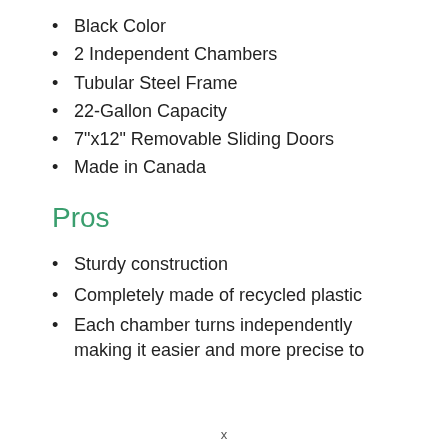Black Color
2 Independent Chambers
Tubular Steel Frame
22-Gallon Capacity
7"x12" Removable Sliding Doors
Made in Canada
Pros
Sturdy construction
Completely made of recycled plastic
Each chamber turns independently making it easier and more precise to